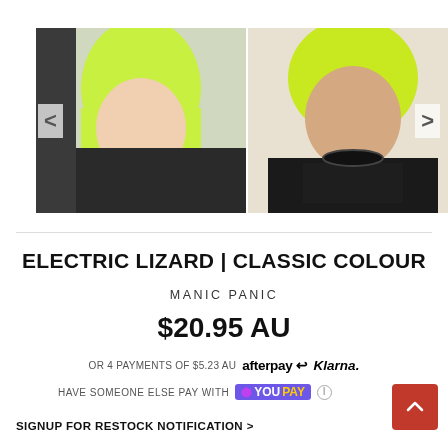[Figure (photo): Four product photos showing people with electric green/neon hair color (Manic Panic Electric Lizard). Photos arranged in a horizontal gallery strip with left and right navigation arrows.]
ELECTRIC LIZARD | CLASSIC COLOUR
MANIC PANIC
$20.95 AU
OR 4 PAYMENTS OF $5.23 AU  afterpay  Klarna.
HAVE SOMEONE ELSE PAY WITH  YouPay
SIGNUP FOR RESTOCK NOTIFICATION >